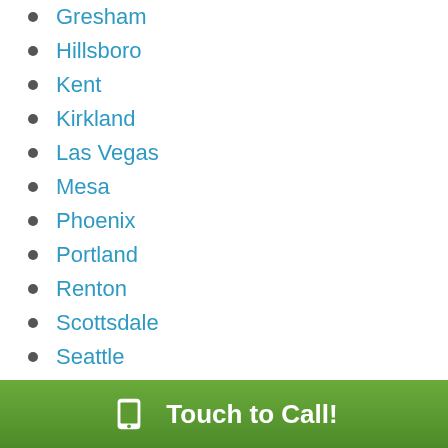Gresham
Hillsboro
Kent
Kirkland
Las Vegas
Mesa
Phoenix
Portland
Renton
Scottsdale
Seattle
Spokane
Tacoma
Tucson
Vancouver
Service Areas
Arizona and Nevada
Oregon – Idaho – Colorado
Touch to Call!